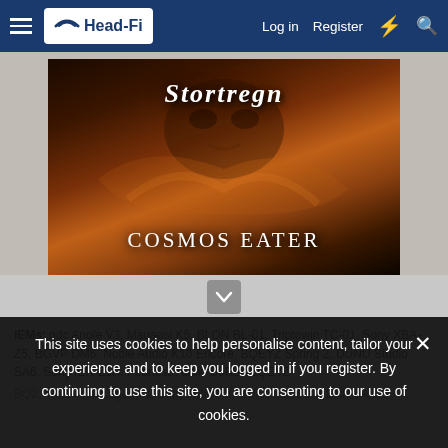Head-Fi — Log in   Register
[Figure (photo): Album cover for 'Cosmos Eater' by Stortregn. Dark fantasy/death metal artwork showing a monstrous skull figure with golden-orange swirling elements. Band name 'Stortregn' in jagged metal font at top, 'COSMOS EATER' in white serif text at bottom.]
IEMs: qdc Anole V3, Magaosi K5, BLON BL-01, Triptowin TC-01, Sony XBA-Z5, BGVP DM6, Noble Audio K10 Encore, BQEYZ Spring 2, DUNU Studio SA6, Sony IER-Z1R, Fearless Audio S6Rui, BQEYZ
This site uses cookies to help personalise content, tailor your experience and to keep you logged in if you register. By continuing to use this site, you are consenting to our use of cookies.